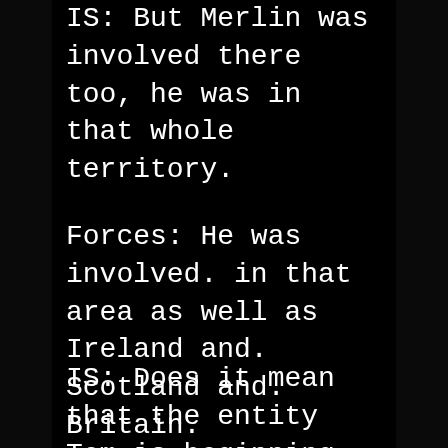IS: But Merlin was involved there too, he was in that whole territory.
Forces: He was involved. in that area as well as Ireland and. Scotland and. Britain.
IS: Does it mean that the entity Tom is beginning now to